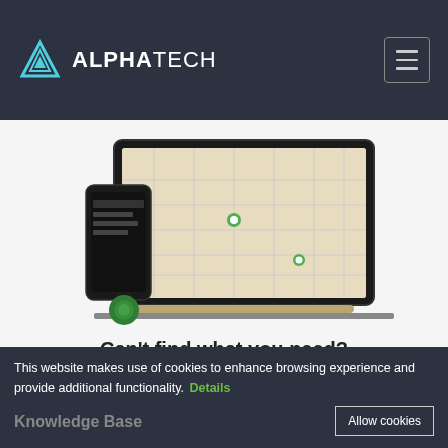ALPHATECH
[Figure (screenshot): Product screenshot showing a laptop and mobile phone displaying a map application with location tracking. A green circular icon is visible near the phone.]
Can't find what you need?
Submit a ticket to seek help from our support specialists.
[Figure (illustration): Decorative blue and light-blue circle shapes partially visible at the bottom of the page.]
This website makes use of cookies to enhance browsing experience and provide additional functionality. Details
Knowledge Base